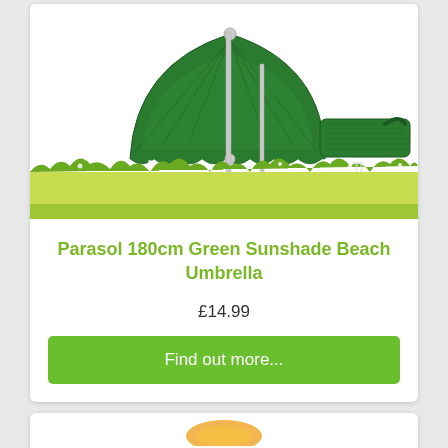[Figure (photo): A green 180cm beach parasol/sunshade umbrella shown open on its pole, tilted to the left, with a green carry bag beside it. Background shows illustrated grass and flowers (yellow-green meadow scene).]
Parasol 180cm Green Sunshade Beach Umbrella
£14.99
Find out more...
[Figure (photo): Partially visible product image at the bottom of the page, appears to be a yellow/orange parasol or similar product.]